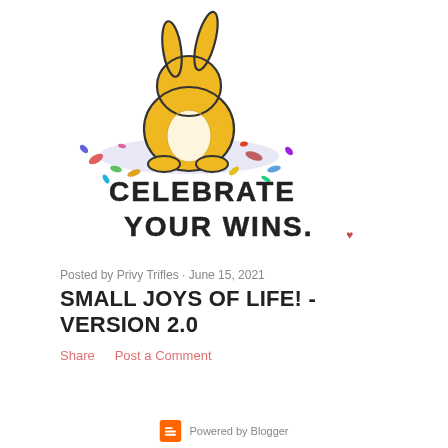[Figure (illustration): A cute yellow bunny/character sitting from behind, surrounded by colorful confetti on a light blue/purple ground. Below it, handwritten-style text reads 'CELEBRATE YOUR WINS.' in bold block letters.]
Posted by Privy Trifles · June 15, 2021
SMALL JOYS OF LIFE! - VERSION 2.0
Share    Post a Comment
Powered by Blogger